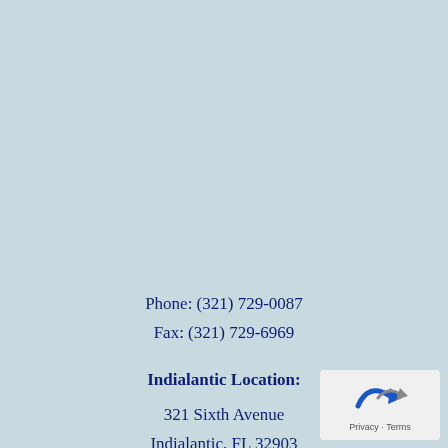Phone: (321) 729-0087
Fax: (321) 729-6969
Indialantic Location:
321 Sixth Avenue
Indialantic, FL 32903